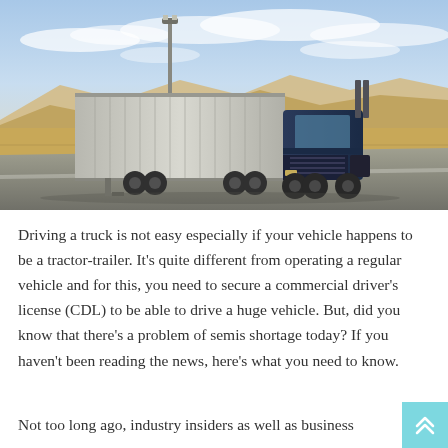[Figure (photo): A large blue tractor-trailer truck driving on a highway through a desert landscape with sandy hills and a partly cloudy sky. A tall light pole is visible on the left side.]
Driving a truck is not easy especially if your vehicle happens to be a tractor-trailer. It's quite different from operating a regular vehicle and for this, you need to secure a commercial driver's license (CDL) to be able to drive a huge vehicle. But, did you know that there's a problem of semis shortage today? If you haven't been reading the news, here's what you need to know.
Not too long ago, industry insiders as well as business